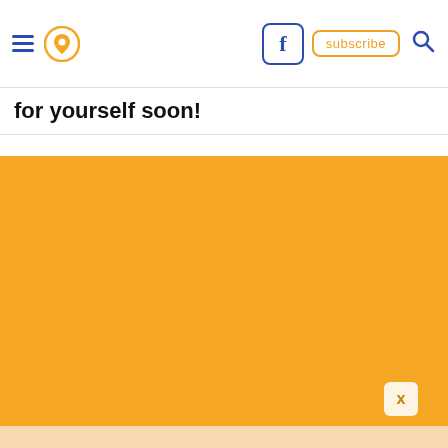[Figure (screenshot): Website navigation bar with hamburger menu icon, location pin icon, Facebook icon, subscribe button, and search icon]
for yourself soon!
[Figure (other): Large solid orange/yellow colored block, likely an advertisement or banner image area with a close (X) button in the lower right]
[Figure (other): Light peach/cream colored area at the bottom of the page]